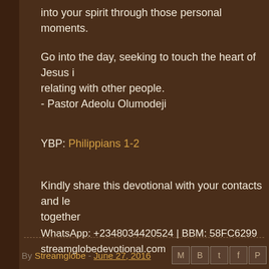into your spirit through those personal moments.
Go into the day, seeking to touch the heart of Jesus in relating with other people.
- Pastor Adeolu Olumodeji
YBP: Philippians 1-2
Kindly share this devotional with your contacts and let together
WhatsApp: +2348034420524 | BBM: 58FC6299
streamglobedevotional.com
By Streamglobe - June 27, 2016